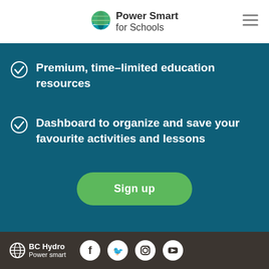Power Smart for Schools
Premium, time-limited education resources
Dashboard to organize and save your favourite activities and lessons
Sign up
BC Hydro Power smart
[Figure (logo): BC Hydro Power Smart for Schools logo with globe icon in header]
[Figure (logo): BC Hydro Power Smart logo in footer with social media icons: Facebook, Twitter, Instagram, YouTube]